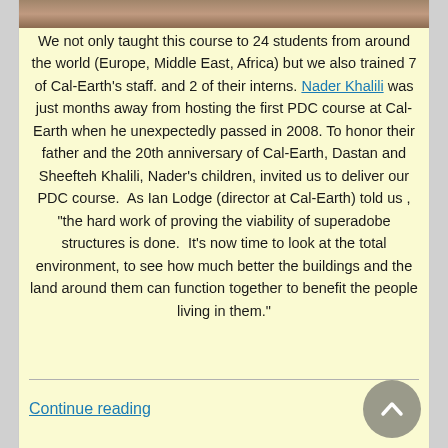[Figure (photo): Partial photo strip at top of page showing people or structures]
We not only taught this course to 24 students from around the world (Europe, Middle East, Africa) but we also trained 7 of Cal-Earth's staff. and 2 of their interns. Nader Khalili was just months away from hosting the first PDC course at Cal-Earth when he unexpectedly passed in 2008. To honor their father and the 20th anniversary of Cal-Earth, Dastan and Sheefteh Khalili, Nader's children, invited us to deliver our PDC course.  As Ian Lodge (director at Cal-Earth) told us , “the hard work of proving the viability of superadobe structures is done.  It’s now time to look at the total environment, to see how much better the buildings and the land around them can function together to benefit the people living in them.”
Continue reading